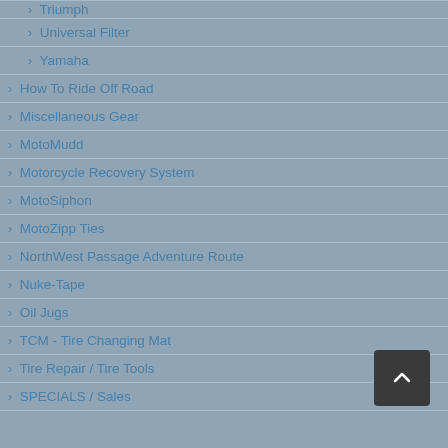> Triumph
> Universal Filter
> Yamaha
> How To Ride Off Road
> Miscellaneous Gear
> MotoMudd
> Motorcycle Recovery System
> MotoSiphon
> MotoZipp Ties
> NorthWest Passage Adventure Route
> Nuke-Tape
> Oil Jugs
> TCM - Tire Changing Mat
> Tire Repair / Tire Tools
> SPECIALS / Sales